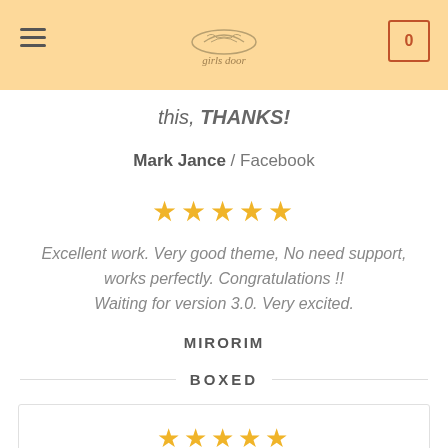girls door (logo)
this, THANKS!
Mark Jance / Facebook
★★★★★
Excellent work. Very good theme, No need support, works perfectly. Congratulations !! Waiting for version 3.0. Very excited.
MIRORIM
BOXED
[Figure (other): Boxed review card with 5 stars]
★★★★★